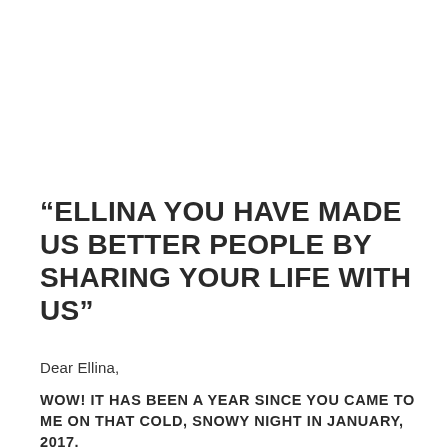“ELLINA YOU HAVE MADE US BETTER PEOPLE BY SHARING YOUR LIFE WITH US”
Dear Ellina,
WOW! IT HAS BEEN A YEAR SINCE YOU CAME TO ME ON THAT COLD, SNOWY NIGHT IN JANUARY, 2017.
Remember the array of stars and full moon shinning,